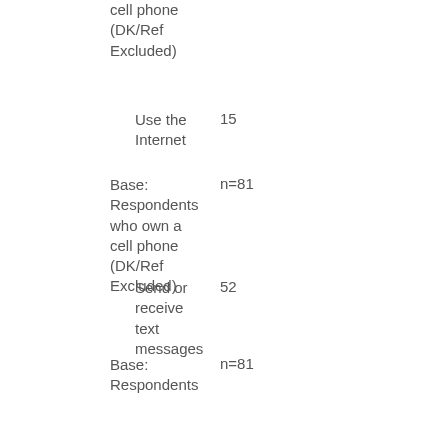cell phone (DK/Ref Excluded)
Use the Internet    15
Base: Respondents who own a cell phone (DK/Ref Excluded)    n=81
Send or receive text messages    52
Base: Respondents who own a cell phone (DK/Ref Excluded)    n=81
Send or receive e-mail    21